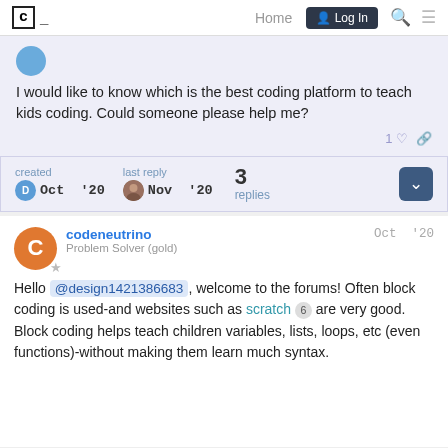C_ Home Log In
I would like to know which is the best coding platform to teach kids coding. Could someone please help me?
created D Oct '20  last reply Nov '20  3 replies
codeneutrino Problem Solver (gold)  Oct '20
Hello @design1421386683, welcome to the forums! Often block coding is used-and websites such as scratch 6 are very good. Block coding helps teach children variables, lists, loops, etc (even functions)-without making them learn much syntax.